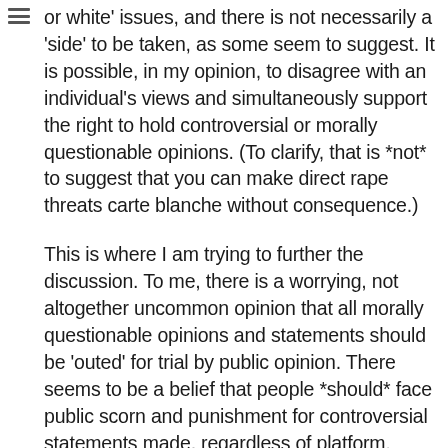or white' issues, and there is not necessarily a 'side' to be taken, as some seem to suggest. It is possible, in my opinion, to disagree with an individual's views and simultaneously support the right to hold controversial or morally questionable opinions. (To clarify, that is *not* to suggest that you can make direct rape threats carte blanche without consequence.)
This is where I am trying to further the discussion. To me, there is a worrying, not altogether uncommon opinion that all morally questionable opinions and statements should be 'outed' for trial by public opinion. There seems to be a belief that people *should* face public scorn and punishment for controversial statements made, regardless of platform. There seems to be a general conflation of what is 'morally wrong' and 'legally wrong', which is